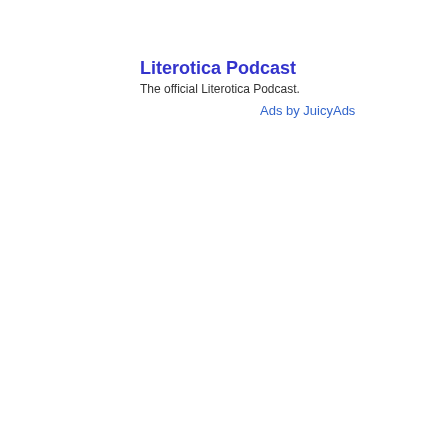Literotica Podcast
The official Literotica Podcast.
Ads by JuicyAds